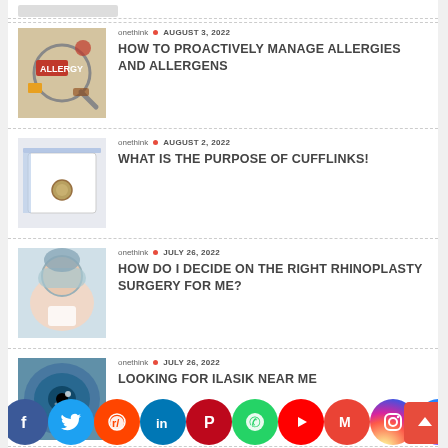[Figure (photo): Placeholder top bar image]
[Figure (photo): Allergy food items with magnifying glass showing ALLERGY text]
onethink • AUGUST 3, 2022
HOW TO PROACTIVELY MANAGE ALLERGIES AND ALLERGENS
[Figure (photo): Cufflinks on white paper/notebook]
onethink • AUGUST 2, 2022
WHAT IS THE PURPOSE OF CUFFLINKS!
[Figure (photo): Doctor performing rhinoplasty surgery on patient]
onethink • JULY 26, 2022
HOW DO I DECIDE ON THE RIGHT RHINOPLASTY SURGERY FOR ME?
[Figure (photo): Close-up of human eye]
onethink • JULY 26, 2022
LOOKING FOR ILASIK NEAR ME
[Figure (photo): People in crowd, partial view]
onethink • JULY 26, 2022
[Figure (infographic): Social media share bar: Facebook, Twitter, Reddit, LinkedIn, Pinterest, WhatsApp, YouTube, Gmail, Instagram, Messenger, Yahoo]